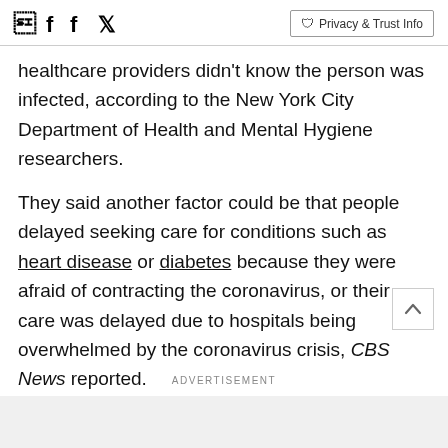Facebook Twitter | Privacy & Trust Info
healthcare providers didn't know the person was infected, according to the New York City Department of Health and Mental Hygiene researchers.
They said another factor could be that people delayed seeking care for conditions such as heart disease or diabetes because they were afraid of contracting the coronavirus, or their care was delayed due to hospitals being overwhelmed by the coronavirus crisis, CBS News reported.
As of Sunday, New York City had recorded nearly
ADVERTISEMENT